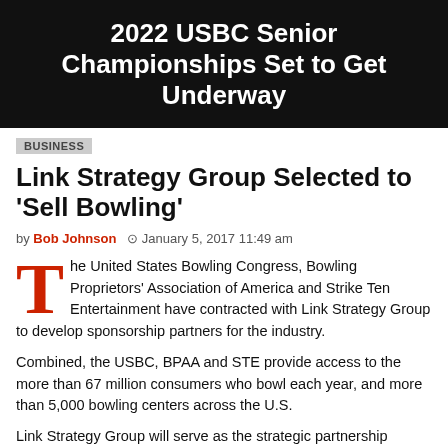2022 USBC Senior Championships Set to Get Underway
BUSINESS
Link Strategy Group Selected to 'Sell Bowling'
by Bob Johnson  January 5, 2017 11:49 am
The United States Bowling Congress, Bowling Proprietors' Association of America and Strike Ten Entertainment have contracted with Link Strategy Group to develop sponsorship partners for the industry.
Combined, the USBC, BPAA and STE provide access to the more than 67 million consumers who bowl each year, and more than 5,000 bowling centers across the U.S.
Link Strategy Group will serve as the strategic partnership agency to introduce the bowling platform to potential non-endemic corporations interested in access to the sport of bowling.